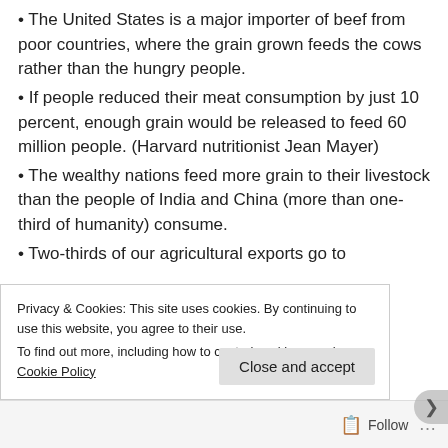The United States is a major importer of beef from poor countries, where the grain grown feeds the cows rather than the hungry people.
If people reduced their meat consumption by just 10 percent, enough grain would be released to feed 60 million people. (Harvard nutritionist Jean Mayer)
The wealthy nations feed more grain to their livestock than the people of India and China (more than one-third of humanity) consume.
Two-thirds of our agricultural exports go to
Privacy & Cookies: This site uses cookies. By continuing to use this website, you agree to their use.
To find out more, including how to control cookies, see here: Cookie Policy
Close and accept
Follow